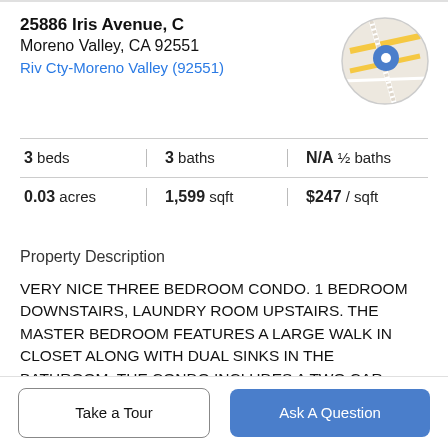25886 Iris Avenue, C
Moreno Valley, CA 92551
Riv Cty-Moreno Valley (92551)
[Figure (map): Circular map thumbnail with a blue location pin marker showing the property location on a street map.]
3 beds | 3 baths | N/A ½ baths
0.03 acres | 1,599 sqft | $247 / sqft
Property Description
VERY NICE THREE BEDROOM CONDO. 1 BEDROOM DOWNSTAIRS, LAUNDRY ROOM UPSTAIRS. THE MASTER BEDROOM FEATURES A LARGE WALK IN CLOSET ALONG WITH DUAL SINKS IN THE BATHROOM. THE CONDO INCLUDES A TWO CAR
Take a Tour
Ask A Question